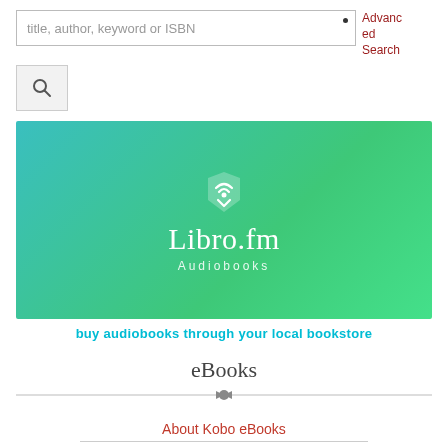title, author, keyword or ISBN
Advanced Search
[Figure (screenshot): Search button with magnifying glass icon]
[Figure (logo): Libro.fm Audiobooks banner with teal-to-green gradient background, headphone/bookmark icon, and white Libro.fm Audiobooks text]
buy audiobooks through your local bookstore
eBooks
About Kobo eBooks